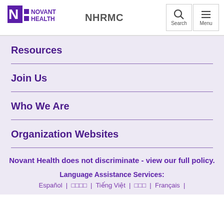Novant Health NHRMC
Resources
Join Us
Who We Are
Organization Websites
Novant Health does not discriminate - view our full policy.
Language Assistance Services:
Español | □□□□ | Tiếng Việt | □□□ | Français |